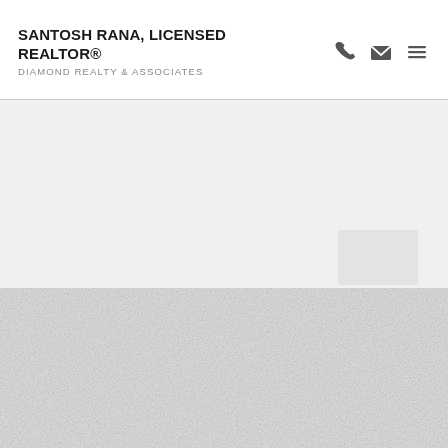SANTOSH RANA, LICENSED REALTOR® DIAMOND REALTY & ASSOCIATES
[Figure (illustration): Upper grey background section with faint decorative element in top right corner]
[Figure (photo): Lower section with light grey textured surface resembling leather or fabric texture]